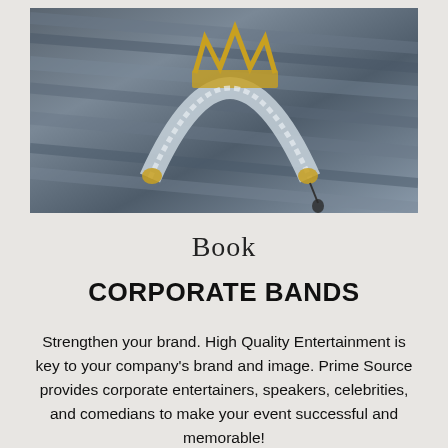[Figure (photo): A decorative crown headband with gold and white lace/fabric details, photographed on a dark striped wooden surface.]
Book
CORPORATE BANDS
Strengthen your brand. High Quality Entertainment is key to your company's brand and image. Prime Source provides corporate entertainers, speakers, celebrities, and comedians to make your event successful and memorable!